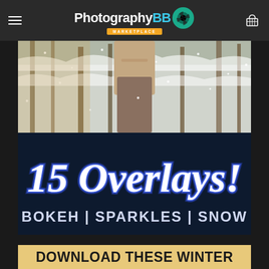PhotographyBB Marketplace
[Figure (photo): Winter forest scene with snow-covered trees and a person wearing a beige coat, snowflakes falling]
[Figure (infographic): Dark navy banner showing '15 Overlays!' in large glowing blue italic script font, with 'BOKEH | SPARKLES | SNOW' in white text below]
DOWNLOAD THESE WINTER